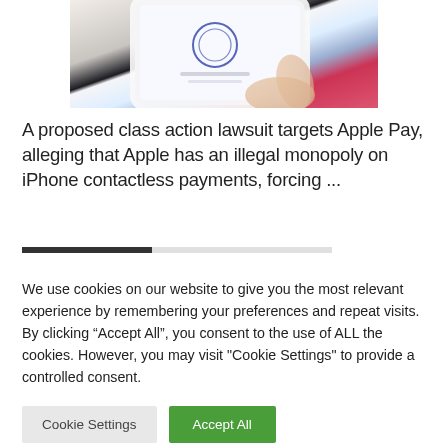[Figure (photo): A hand holding an iPhone with a fingerprint/Touch ID unlock screen, against a blurred red and blue background]
A proposed class action lawsuit targets Apple Pay, alleging that Apple has an illegal monopoly on iPhone contactless payments, forcing ...
We use cookies on our website to give you the most relevant experience by remembering your preferences and repeat visits. By clicking “Accept All”, you consent to the use of ALL the cookies. However, you may visit "Cookie Settings" to provide a controlled consent.